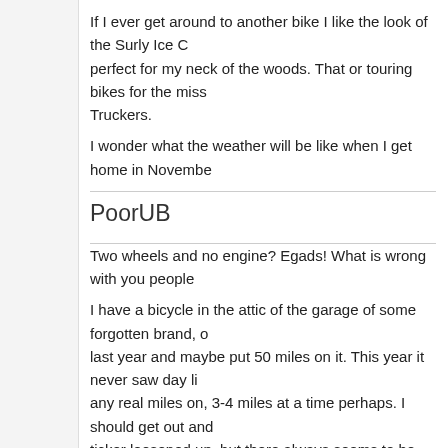If I ever get around to another bike I like the look of the Surly Ice C… perfect for my neck of the woods. That or touring bikes for the miss… Truckers.

I wonder what the weather will be like when I get home in Novembe…
PoorUB
Two wheels and no engine? Egads! What is wrong with you people…

I have a bicycle in the attic of the garage of some forgotten brand, … last year and maybe put 50 miles on it. This year it never saw day l… any real miles on, 3-4 miles at a time perhaps. I should get out and… ticker loosened up, but there always seems to be something else t… go for a bicycle ride, it is definitely good motorcycle weather!!
8ninety8
Could be wrong , but I have the feeling that riding the bicycle tunes… motorcycling, or maybe it's visa-versa. Leg strength is also tuned u…
skibum69
Plus handling skills are transferred, certainly for off-road. If you rid…